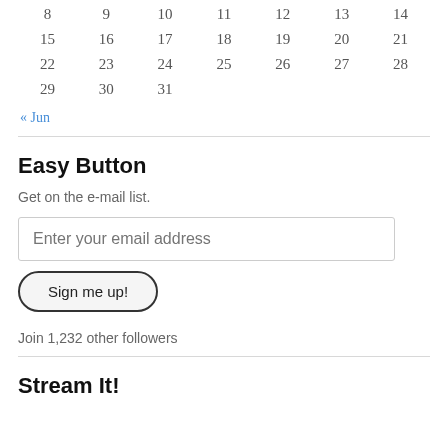| 8 | 9 | 10 | 11 | 12 | 13 | 14 |
| 15 | 16 | 17 | 18 | 19 | 20 | 21 |
| 22 | 23 | 24 | 25 | 26 | 27 | 28 |
| 29 | 30 | 31 |  |  |  |  |
« Jun
Easy Button
Get on the e-mail list.
Enter your email address
Sign me up!
Join 1,232 other followers
Stream It!